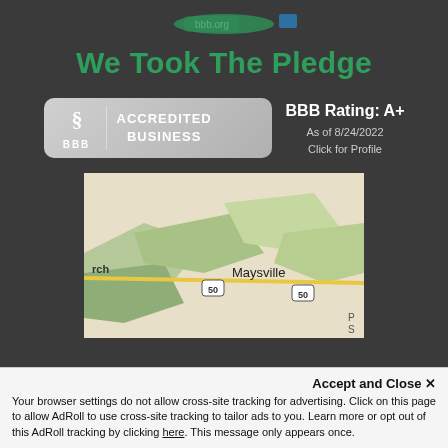[Figure (logo): BBB bbb.org logo with green swoosh and blue element at top]
We Took The Pledge
[Figure (logo): BBB Accredited Business badge with rating A+ as of 8/24/2022, Click for Profile]
[Figure (map): Google Maps view showing Maysville area with Route 50 highway]
Accept and Close ✕
Your browser settings do not allow cross-site tracking for advertising. Click on this page to allow AdRoll to use cross-site tracking to tailor ads to you. Learn more or opt out of this AdRoll tracking by clicking here. This message only appears once.